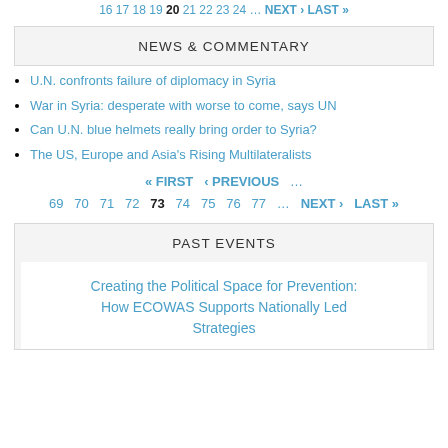16 17 18 19 20 21 22 23 24 … NEXT › LAST »
NEWS & COMMENTARY
U.N. confronts failure of diplomacy in Syria
War in Syria: desperate with worse to come, says UN
Can U.N. blue helmets really bring order to Syria?
The US, Europe and Asia's Rising Multilateralists
« FIRST ‹ PREVIOUS … 69 70 71 72 73 74 75 76 77 … NEXT › LAST »
PAST EVENTS
Creating the Political Space for Prevention: How ECOWAS Supports Nationally Led Strategies